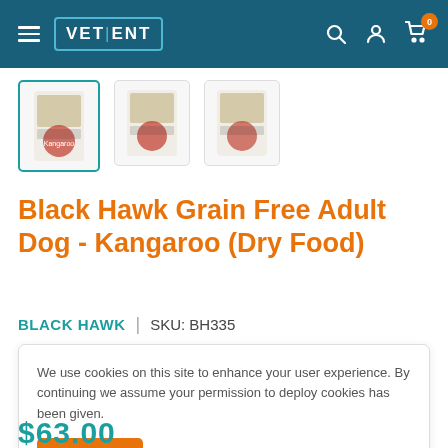VET|ENT — navigation header with search, account, and cart icons
[Figure (photo): Three product thumbnails of Black Hawk Grain Free Adult Dog Kangaroo dry food bags; first thumbnail is selected with teal border]
Black Hawk Grain Free Adult Dog - Kangaroo (Dry Food)
BLACK HAWK   |   SKU: BH335
We use cookies on this site to enhance your user experience. By continuing we assume your permission to deploy cookies has been given.
Accept
$63.00